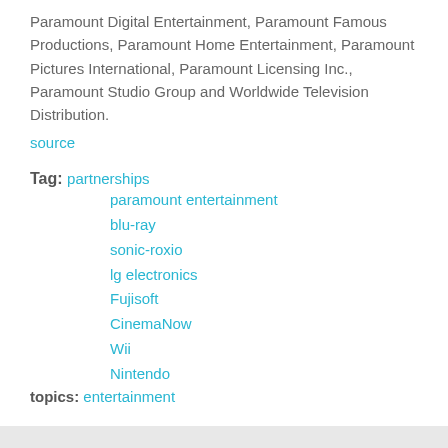Paramount Digital Entertainment, Paramount Famous Productions, Paramount Home Entertainment, Paramount Pictures International, Paramount Licensing Inc., Paramount Studio Group and Worldwide Television Distribution.
source
Tag: partnerships
paramount entertainment
blu-ray
sonic-roxio
lg electronics
Fujisoft
CinemaNow
Wii
Nintendo
topics: entertainment